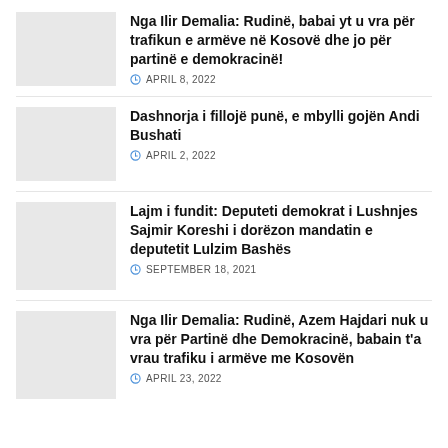Nga Ilir Demalia: Rudinë, babai yt u vra për trafikun e armëve në Kosovë dhe jo për partinë e demokracinë! — APRIL 8, 2022
Dashnorja i fillojë punë, e mbylli gojën Andi Bushati — APRIL 2, 2022
Lajm i fundit: Deputeti demokrat i Lushnjes Sajmir Koreshi i dorëzon mandatin e deputetit Lulzim Bashës — SEPTEMBER 18, 2021
Nga Ilir Demalia: Rudinë, Azem Hajdari nuk u vra për Partinë dhe Demokracinë, babain t'a vrau trafiku i armëve me Kosovën — APRIL 23, 2022